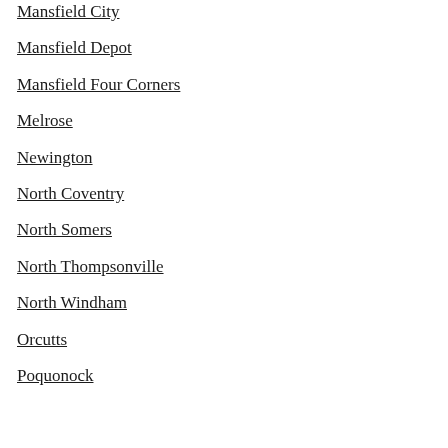Mansfield City
Mansfield Depot
Mansfield Four Corners
Melrose
Newington
North Coventry
North Somers
North Thompsonville
North Windham
Orcutts
Poquonock